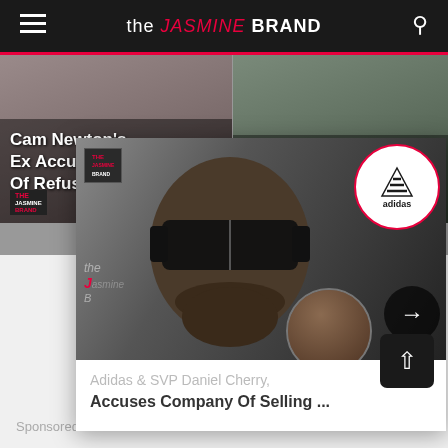the JASMINE BRAND
[Figure (screenshot): Article card: Cam Newton's Ex Accuses Him Of Refusing...]
[Figure (screenshot): Article card: Serena Williams Beats No. 2 Seed Anett...]
[Figure (photo): Featured article image showing a man in sunglasses with Adidas logo circle and The Jasmine Brand logo overlay]
Adidas & SVP Daniel Cherry, Accuses Company Of Selling ...
Sponsored